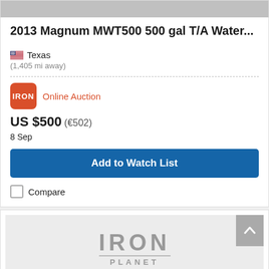[Figure (photo): Top portion of a listing card showing a partial image of equipment (gray/metal, cropped)]
2013 Magnum MWT500 500 gal T/A Water...
Texas
(1,405 mi away)
Online Auction
US $500 (€502)
8 Sep
Add to Watch List
Compare
[Figure (logo): IronPlanet logo in gray on light gray background]